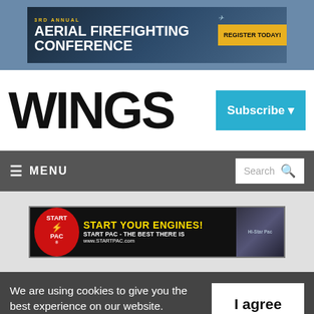[Figure (screenshot): Ad banner for 3rd Annual Aerial Firefighting Conference with 'Register Today!' button]
WINGS
Subscribe ▾
≡ MENU
Search
[Figure (screenshot): Start Pac advertisement banner: START YOUR ENGINES! START PAC - THE BEST THERE IS www.STARTPAC.com]
We are using cookies to give you the best experience on our website.
By continuing to use the site, you agree to the use of cookies.
To find out more, read our privacy policy.
I agree